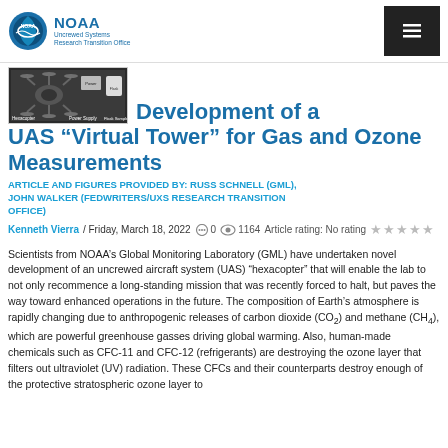NOAA Uncrewed Systems Research Transition Office
[Figure (photo): Hexacopter drone with Power Supply and Flask Sampler labels visible, laboratory equipment setup]
Laboratory Development of a UAS “Virtual Tower” for Gas and Ozone Measurements
ARTICLE AND FIGURES PROVIDED BY: RUSS SCHNELL (GML), JOHN WALKER (FEDWRITERS/UXS RESEARCH TRANSITION OFFICE)
Kenneth Vierra / Friday, March 18, 2022  💬 0  👁 1164  Article rating: No rating ★★★★★
Scientists from NOAA’s Global Monitoring Laboratory (GML) have undertaken novel development of an uncrewed aircraft system (UAS) “hexacopter” that will enable the lab to not only recommence a long-standing mission that was recently forced to halt, but paves the way toward enhanced operations in the future. The composition of Earth’s atmosphere is rapidly changing due to anthropogenic releases of carbon dioxide (CO2) and methane (CH4), which are powerful greenhouse gasses driving global warming. Also, human-made chemicals such as CFC-11 and CFC-12 (refrigerants) are destroying the ozone layer that filters out ultraviolet (UV) radiation. These CFCs and their counterparts destroy enough of the protective stratospheric ozone layer to